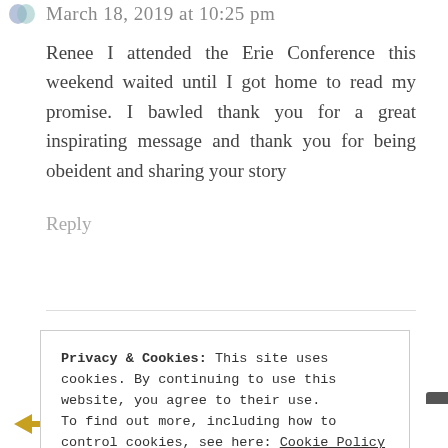March 18, 2019 at 10:25 pm
Renee I attended the Erie Conference this weekend waited until I got home to read my promise. I bawled thank you for a great inspirating message and thank you for being obeident and sharing your story
Reply
Privacy & Cookies: This site uses cookies. By continuing to use this website, you agree to their use. To find out more, including how to control cookies, see here: Cookie Policy
Close and accept
we, PhD, LI, DGG, SEI